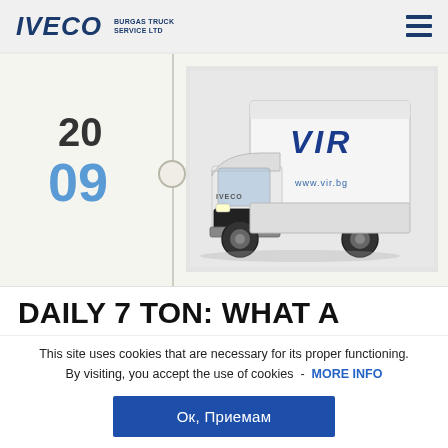IVECO BURGAS TRUCK SERVICE LTD
[Figure (photo): IVECO Daily 7 ton white box truck with 'VIR' branding on the cab and cargo box, photographed from a front-side angle on a white/light background]
DAILY 7 TON: WHAT A
This site uses cookies that are necessary for its proper functioning. By visiting, you accept the use of cookies - MORE INFO
Ок, Приемам